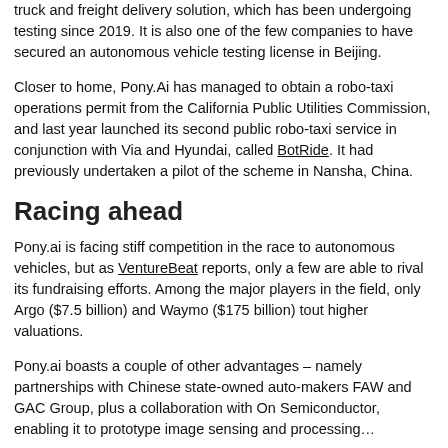truck and freight delivery solution, which has been undergoing testing since 2019. It is also one of the few companies to have secured an autonomous vehicle testing license in Beijing.
Closer to home, Pony.Ai has managed to obtain a robo-taxi operations permit from the California Public Utilities Commission, and last year launched its second public robo-taxi service in conjunction with Via and Hyundai, called BotRide. It had previously undertaken a pilot of the scheme in Nansha, China.
Racing ahead
Pony.ai is facing stiff competition in the race to autonomous vehicles, but as VentureBeat reports, only a few are able to rival its fundraising efforts. Among the major players in the field, only Argo ($7.5 billion) and Waymo ($175 billion) tout higher valuations.
Pony.ai boasts a couple of other advantages – namely partnerships with Chinese state-owned auto-makers FAW and GAC Group, plus a collaboration with On Semiconductor, enabling it to prototype image sensing and processing…